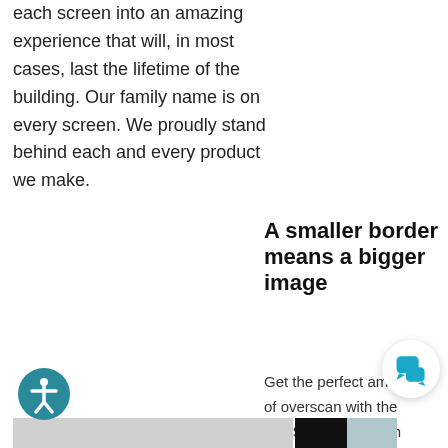each screen into an amazing experience that will, in most cases, last the lifetime of the building. Our family name is on every screen. We proudly stand behind each and every product we make.
A smaller border means a bigger image
Get the perfect amount of overscan with the WallScreen 2 ½ inch frame. The